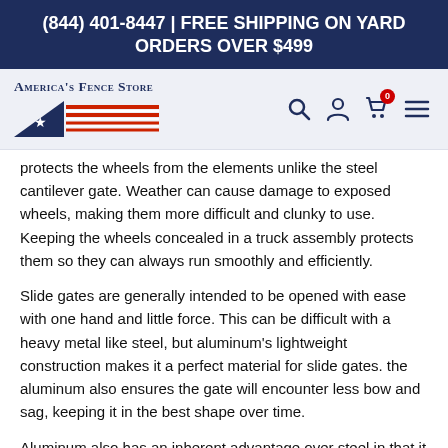(844) 401-8447 | FREE SHIPPING ON YARD ORDERS OVER $499
[Figure (logo): America's Fence Store logo with stylized American flag graphic in red, white, and blue]
protects the wheels from the elements unlike the steel cantilever gate. Weather can cause damage to exposed wheels, making them more difficult and clunky to use. Keeping the wheels concealed in a truck assembly protects them so they can always run smoothly and efficiently.
Slide gates are generally intended to be opened with ease with one hand and little force. This can be difficult with a heavy metal like steel, but aluminum's lightweight construction makes it a perfect material for slide gates. the aluminum also ensures the gate will encounter less bow and sag, keeping it in the best shape over time.
Aluminum also has an inherent advantage over steel in that it